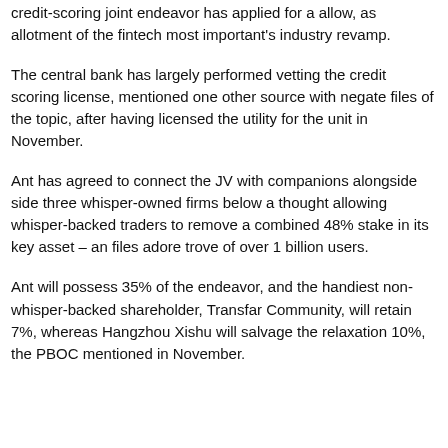credit-scoring joint endeavor has applied for a allow, as allotment of the fintech most important's industry revamp.
The central bank has largely performed vetting the credit scoring license, mentioned one other source with negate files of the topic, after having licensed the utility for the unit in November.
Ant has agreed to connect the JV with companions alongside side three whisper-owned firms below a thought allowing whisper-backed traders to remove a combined 48% stake in its key asset – an files adore trove of over 1 billion users.
Ant will possess 35% of the endeavor, and the handiest non-whisper-backed shareholder, Transfar Community, will retain 7%, whereas Hangzhou Xishu will salvage the relaxation 10%, the PBOC mentioned in November.